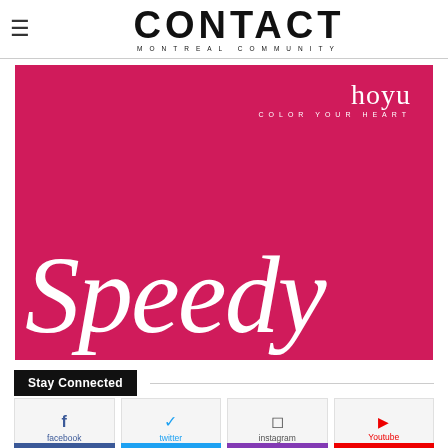CONTACT MONTREAL COMMUNITY
[Figure (illustration): Hoyu 'Speedy' hair color product advertisement. Bright pink/crimson background with large white italic 'Speedy' script text. 'hoyu COLOR YOUR HEART' branding in white in upper right corner.]
Stay Connected
[Figure (infographic): Social media icons row: facebook (blue), twitter (blue), instagram (grey), Youtube (red) with corresponding icons above each label]